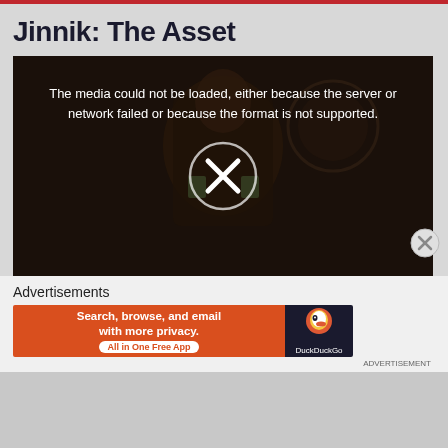Jinnik: The Asset
[Figure (screenshot): Video player showing a dark scene with a person in military uniform. An error message overlay reads: 'The media could not be loaded, either because the server or network failed or because the format is not supported.' A circle with an X icon is shown in the center.]
Advertisements
[Figure (screenshot): DuckDuckGo advertisement banner. Left side: orange background with text 'Search, browse, and email with more privacy. All in One Free App'. Right side: dark background with DuckDuckGo duck logo and 'DuckDuckGo' text.]